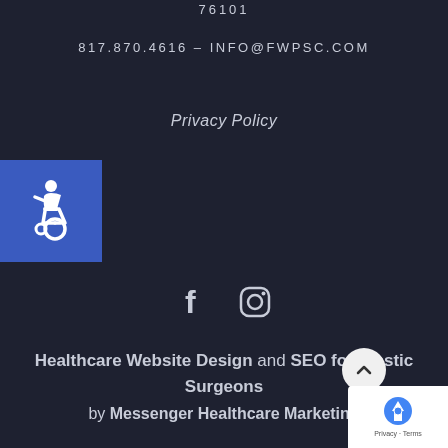76101
817.870.4616 - INFO@FWPSC.COM
Privacy Policy
[Figure (logo): Blue accessibility icon badge with wheelchair symbol in white on blue square background]
[Figure (infographic): Social media icons: Facebook (f) and Instagram (camera) in white on dark background]
Healthcare Website Design and SEO for Plastic Surgeons
by Messenger Healthcare Marketing
[Figure (infographic): White circular scroll-to-top button with upward chevron arrow]
[Figure (logo): Google reCAPTCHA badge with logo and Privacy/Terms links]